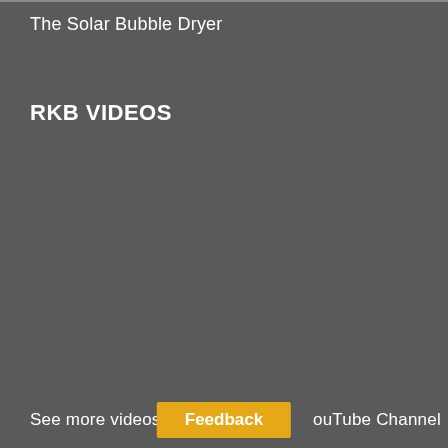The Solar Bubble Dryer
RKB VIDEOS
See more videos on our YouTube Channel